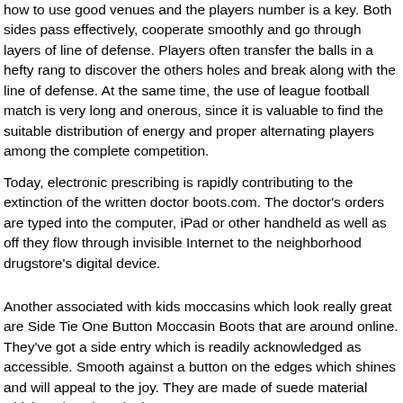how to use good venues and the players number is a key. Both sides pass effectively, cooperate smoothly and go through layers of line of defense. Players often transfer the balls in a hefty rang to discover the others holes and break along with the line of defense. At the same time, the use of league football match is very long and onerous, since it is valuable to find the suitable distribution of energy and proper alternating players among the complete competition.
Today, electronic prescribing is rapidly contributing to the extinction of the written doctor boots.com. The doctor's orders are typed into the computer, iPad or other handheld as well as off they flow through invisible Internet to the neighborhood drugstore's digital device.
Another associated with kids moccasins which look really great are Side Tie One Button Moccasin Boots that are around online. They've got a side entry which is readily acknowledged as accessible. Smooth against a button on the edges which shines and will appeal to the joy. They are made of suede material which makes them look even